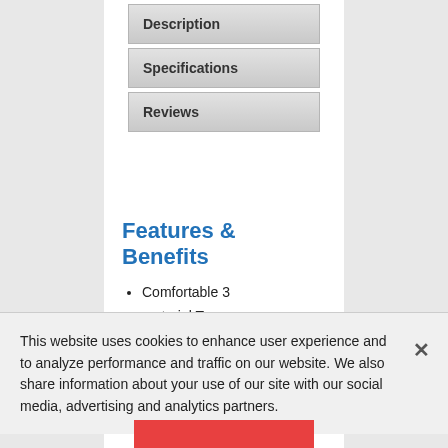Description
Specifications
Reviews
Features & Benefits
Comfortable 3 material Top Torque II handle shape for maximum
This website uses cookies to enhance user experience and to analyze performance and traffic on our website. We also share information about your use of our site with our social media, advertising and analytics partners.